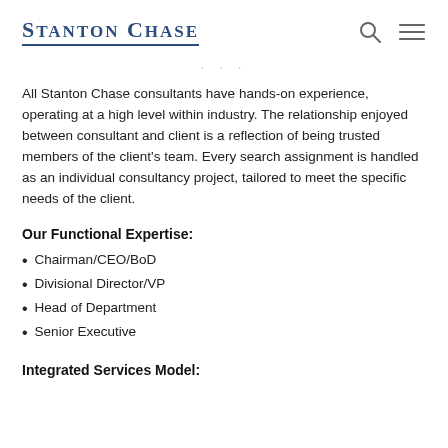Stanton Chase
All Stanton Chase consultants have hands-on experience, operating at a high level within industry. The relationship enjoyed between consultant and client is a reflection of being trusted members of the client's team. Every search assignment is handled as an individual consultancy project, tailored to meet the specific needs of the client.
Our Functional Expertise:
Chairman/CEO/BoD
Divisional Director/VP
Head of Department
Senior Executive
Integrated Services Model: